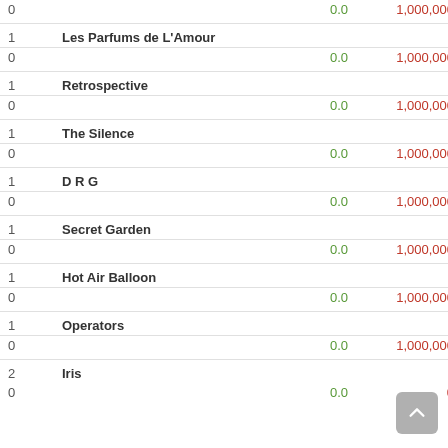| # | Name | Value1 | Value2 | Score |
| --- | --- | --- | --- | --- |
| 0 |  | 0.0 | 1,000,000 | 96.71 |
| 1 | Les Parfums de L'Amour |  |  |  |
| 0 |  | 0.0 | 1,000,000 | 93.76 |
| 1 | Retrospective |  |  |  |
| 0 |  | 0.0 | 1,000,000 | 94.66 |
| 1 | The Silence |  |  |  |
| 0 |  | 0.0 | 1,000,000 | 96.5 |
| 1 | D R G |  |  |  |
| 0 |  | 0.0 | 1,000,000 | 96.74 |
| 1 | Secret Garden |  |  |  |
| 0 |  | 0.0 | 1,000,000 | 97.86 |
| 1 | Hot Air Balloon |  |  |  |
| 0 |  | 0.0 | 1,000,000 | 96.89 |
| 1 | Operators |  |  |  |
| 0 |  | 0.0 | 1,000,000 | 95.56 |
| 2 | Iris |  |  |  |
| 0 |  | 0.0 | 0 | 0.0 |